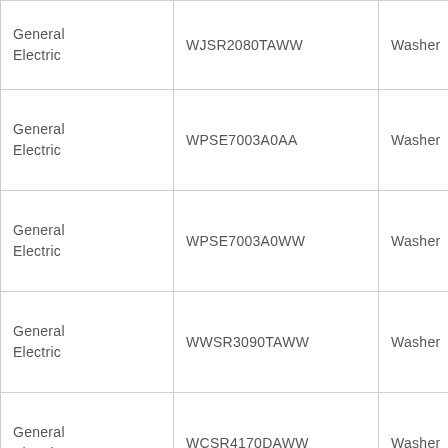| General Electric | WJSR2080TAWW | Washer |
| General Electric | WPSE7003A0AA | Washer |
| General Electric | WPSE7003A0WW | Washer |
| General Electric | WWSR3090TAWW | Washer |
| General Electric | WCSR4170DAWW | Washer |
| General Electric | WKSR2100T9WW | Washer |